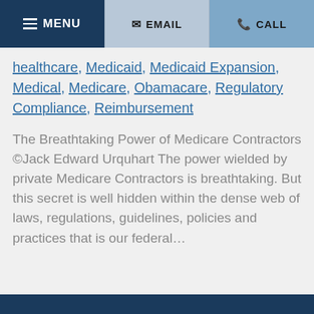MENU  EMAIL  CALL
healthcare, Medicaid, Medicaid Expansion, Medical, Medicare, Obamacare, Regulatory Compliance, Reimbursement
The Breathtaking Power of Medicare Contractors ©Jack Edward Urquhart The power wielded by private Medicare Contractors is breathtaking. But this secret is well hidden within the dense web of laws, regulations, guidelines, policies and practices that is our federal…